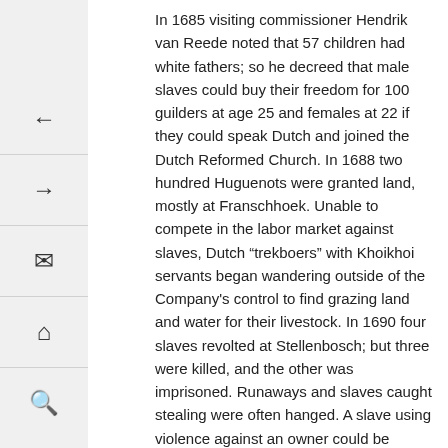In 1685 visiting commissioner Hendrik van Reede noted that 57 children had white fathers; so he decreed that male slaves could buy their freedom for 100 guilders at age 25 and females at 22 if they could speak Dutch and joined the Dutch Reformed Church. In 1688 two hundred Huguenots were granted land, mostly at Franschhoek. Unable to compete in the labor market against slaves, Dutch “trekboers” with Khoikhoi servants began wandering outside of the Company's control to find grazing land and water for their livestock. In 1690 four slaves revolted at Stellenbosch; but three were killed, and the other was imprisoned. Runaways and slaves caught stealing were often hanged. A slave using violence against an owner could be tortured on the wheel that broke bones. Laws against sexual relations between white man and slaves were often